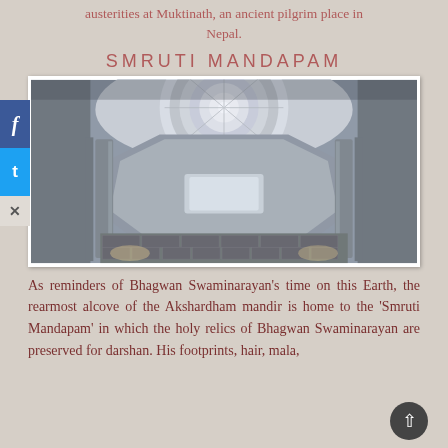austerities at Muktinath, an ancient pilgrim place in Nepal.
SMRUTI MANDAPAM
[Figure (photo): Interior upward view of an ornately carved white stone temple dome ceiling with circular mandala pattern, surrounded by intricately detailed carved columns and arches — Smruti Mandapam at Akshardham mandir.]
As reminders of Bhagwan Swaminarayan's time on this Earth, the rearmost alcove of the Akshardham mandir is home to the 'Smruti Mandapam' in which the holy relics of Bhagwan Swaminarayan are preserved for darshan. His footprints, hair, mala,